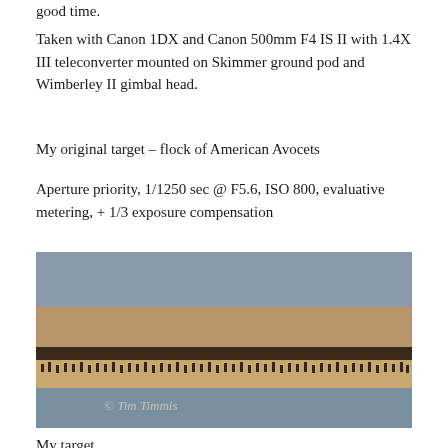good time.
Taken with Canon 1DX and Canon 500mm F4 IS II with 1.4X III teleconverter mounted on Skimmer ground pod and Wimberley II gimbal head.
My original target – flock of American Avocets
Aperture priority, 1/1250 sec @ F5.6, ISO 800, evaluative metering, + 1/3 exposure compensation
[Figure (photo): Flock of birds (American Avocets and others) standing at a water's edge with rocks in the background. Watermark reads '© Tim Timmis'.]
My target...